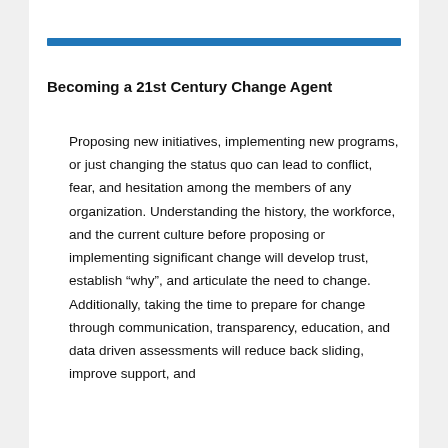Becoming a 21st Century Change Agent
Proposing new initiatives, implementing new programs, or just changing the status quo can lead to conflict, fear, and hesitation among the members of any organization. Understanding the history, the workforce, and the current culture before proposing or implementing significant change will develop trust, establish “why”, and articulate the need to change. Additionally, taking the time to prepare for change through communication, transparency, education, and data driven assessments will reduce back sliding, improve support, and